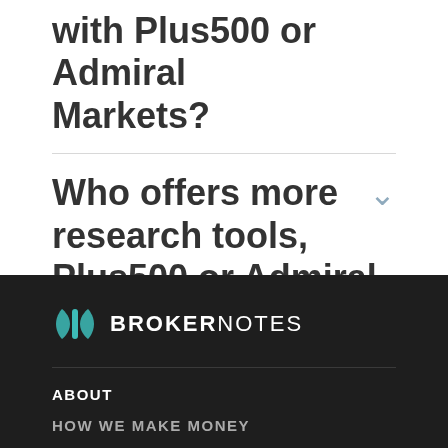with Plus500 or Admiral Markets?
Who offers more research tools, Plus500 or Admiral Markets?
[Figure (logo): BrokerNotes logo with teal icon and white text on dark background]
ABOUT
HOW WE MAKE MONEY